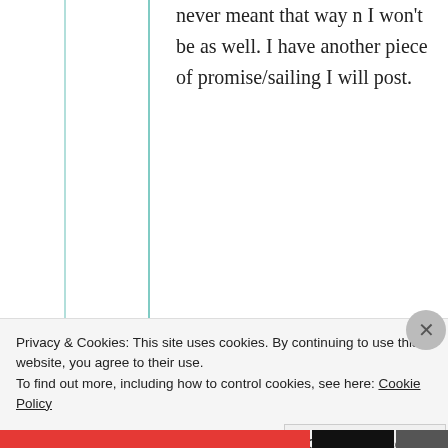never meant that way n I won't be as well. I have another piece of promise/sailing I will post.
★ Like
[Figure (illustration): User avatar/icon for mildredprince welch — circular golden decorative emblem with star/compass pattern]
mildredprince welch
Privacy & Cookies: This site uses cookies. By continuing to use this website, you agree to their use. To find out more, including how to control cookies, see here: Cookie Policy
Close and accept